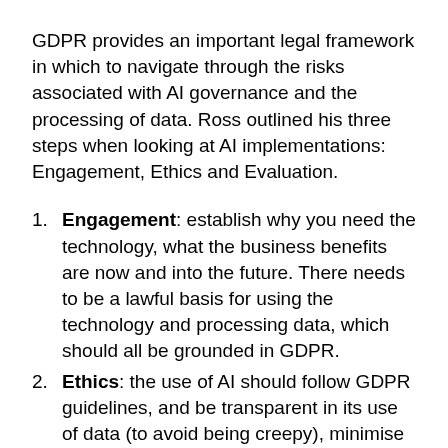GDPR provides an important legal framework in which to navigate through the risks associated with AI governance and the processing of data. Ross outlined his three steps when looking at AI implementations: Engagement, Ethics and Evaluation.
Engagement: establish why you need the technology, what the business benefits are now and into the future. There needs to be a lawful basis for using the technology and processing data, which should all be grounded in GDPR.
Ethics: the use of AI should follow GDPR guidelines, and be transparent in its use of data (to avoid being creepy), minimise the data that it harvests, ensure that it is accurate, respect